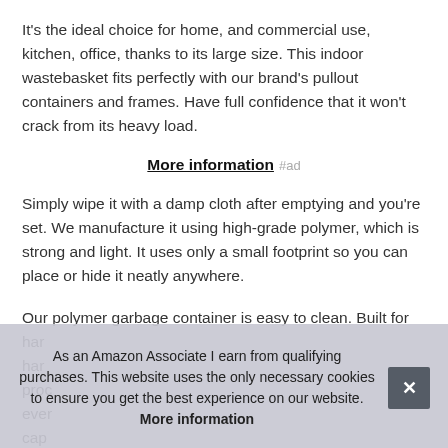It's the ideal choice for home, and commercial use, kitchen, office, thanks to its large size. This indoor wastebasket fits perfectly with our brand's pullout containers and frames. Have full confidence that it won't crack from its heavy load.
More information #ad
Simply wipe it with a damp cloth after emptying and you're set. We manufacture it using high-grade polymer, which is strong and light. It uses only a small footprint so you can place or hide it neatly anywhere.
Our polymer garbage container is easy to clean. Built for hard... proc... ever... cap... can...
As an Amazon Associate I earn from qualifying purchases. This website uses the only necessary cookies to ensure you get the best experience on our website. More information